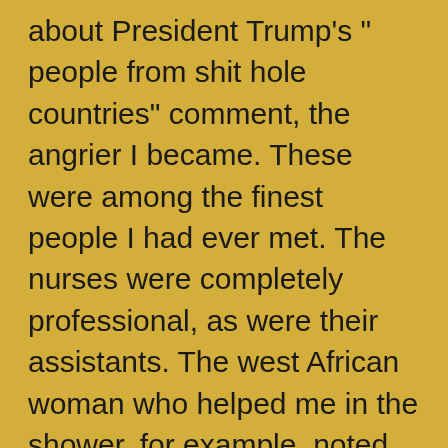about President Trump's " people from shit hole countries" comment, the angrier I became. These were among the finest people I had ever met. The nurses were completely professional, as were their assistants. The west African woman who helped me in the shower, for example, noted that I was not at all shy about my privates (a sign that a lot of other people in the facility might have been). I would just stand there with